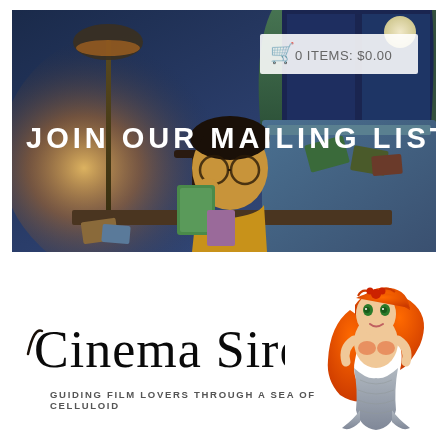[Figure (illustration): Illustrated banner image showing a boy reading books at a desk at night, with moonlit window, lamp, and scattered books. Overlaid text reads JOIN OUR MAILING LIST with a shopping cart badge showing 0 ITEMS: $0.00.]
[Figure (logo): Cinema Siren logo in ornate black script font with tagline GUIDING FILM LOVERS THROUGH A SEA OF CELLULOID in small caps, alongside a cartoon red-haired mermaid illustration.]